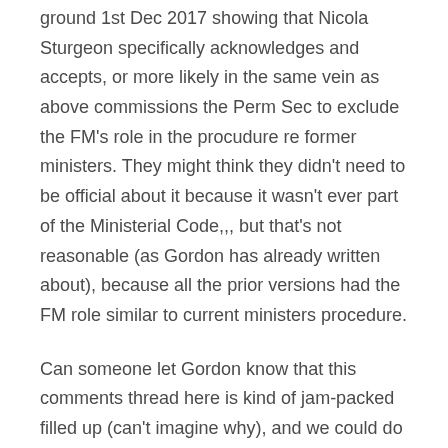ground 1st Dec 2017 showing that Nicola Sturgeon specifically acknowledges and accepts, or more likely in the same vein as above commissions the Perm Sec to exclude the FM's role in the procudure re former ministers. They might think they didn't need to be official about it because it wasn't ever part of the Ministerial Code,,, but that's not reasonable (as Gordon has already written about), because all the prior versions had the FM role similar to current ministers procedure.
Can someone let Gordon know that this comments thread here is kind of jam-packed filled up (can't imagine why), and we could do with a new blog post to start afresh?
Like